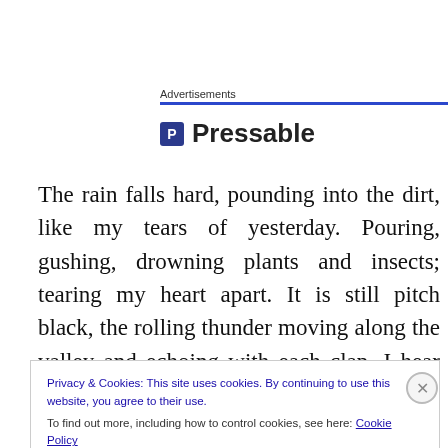Advertisements
[Figure (logo): Pressable logo with blue P icon and bold text 'Pressable']
The rain falls hard, pounding into the dirt, like my tears of yesterday. Pouring, gushing, drowning plants and insects; tearing my heart apart. It is still pitch black, the rolling thunder moving along the valley and echoing with each clap. I hear the call of a blue jay, a special totem for me,
Privacy & Cookies: This site uses cookies. By continuing to use this website, you agree to their use.
To find out more, including how to control cookies, see here: Cookie Policy
Close and accept